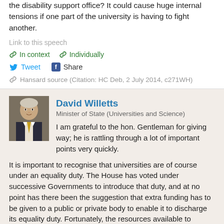the disability support office? It could cause huge internal tensions if one part of the university is having to fight another.
Link to this speech
In context   Individually
Tweet   Share
Hansard source (Citation: HC Deb, 2 July 2014, c271WH)
David Willetts
Minister of State (Universities and Science)
I am grateful to the hon. Gentleman for giving way; he is rattling through a lot of important points very quickly.
It is important to recognise that universities are of course under an equality duty. The House has voted under successive Governments to introduce that duty, and at no point has there been the suggestion that extra funding has to be given to a public or private body to enable it to discharge its equality duty. Fortunately, the resources available to universities for teaching are increasing from £7.9 billion at the beginning of this Parliament to £9.9 billion at the end of this Parliament. That is a result of the changes that the hon. Gentleman “steadfastly opposed”, to